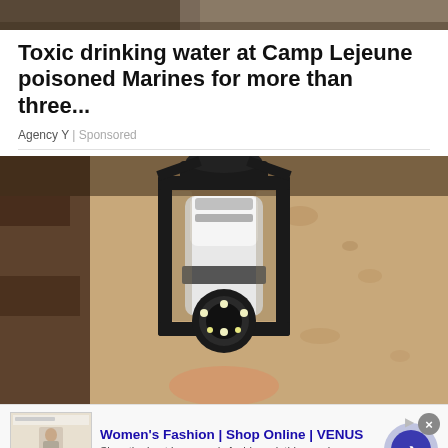[Figure (photo): Partial top image strip showing a dark outdoor scene, likely a continuation of a news article image]
Toxic drinking water at Camp Lejeune poisoned Marines for more than three...
Agency Y | Sponsored
[Figure (photo): A security camera shaped like a light bulb installed inside a black outdoor lantern fixture mounted on a textured beige stucco wall]
[Figure (screenshot): Advertisement for Women's Fashion | Shop Online | VENUS. Shows a thumbnail of a woman in fashion clothing. Text: Shop the best in women's fashion, clothing, swimwear. venus.com. Blue call-to-action arrow button.]